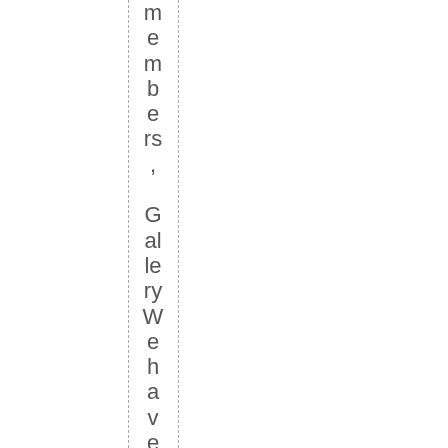members, Gallery We have all new artwork wo